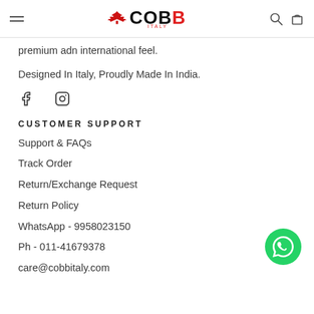COBB ITALY - navigation header with hamburger menu, logo, search and cart icons
premium adn international feel.
Designed In Italy, Proudly Made In India.
[Figure (logo): Facebook and Instagram social media icons]
CUSTOMER SUPPORT
Support & FAQs
Track Order
Return/Exchange Request
Return Policy
WhatsApp - 9958023150
Ph - 011-41679378
care@cobbitaly.com (partial)
[Figure (logo): WhatsApp floating button (green circle with phone/chat icon)]